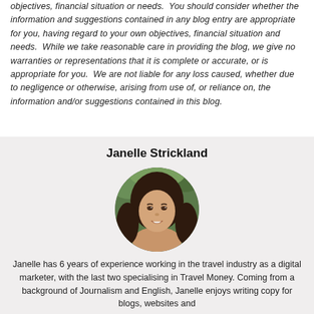objectives, financial situation or needs.  You should consider whether the information and suggestions contained in any blog entry are appropriate for you, having regard to your own objectives, financial situation and needs.  While we take reasonable care in providing the blog, we give no warranties or representations that it is complete or accurate, or is appropriate for you.  We are not liable for any loss caused, whether due to negligence or otherwise, arising from use of, or reliance on, the information and/or suggestions contained in this blog.
Janelle Strickland
[Figure (photo): Circular portrait photo of Janelle Strickland, a woman with long dark hair, smiling, with a green outdoor background.]
Janelle has 6 years of experience working in the travel industry as a digital marketer, with the last two specialising in Travel Money. Coming from a background of Journalism and English, Janelle enjoys writing copy for blogs, websites and